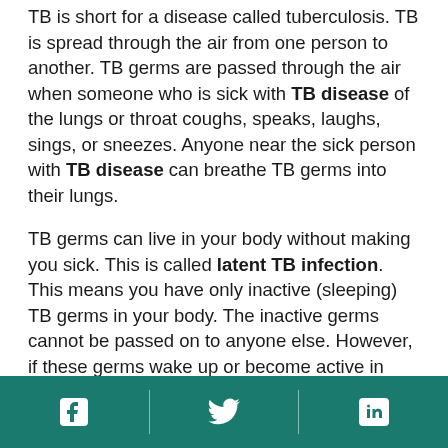TB is short for a disease called tuberculosis. TB is spread through the air from one person to another. TB germs are passed through the air when someone who is sick with TB disease of the lungs or throat coughs, speaks, laughs, sings, or sneezes. Anyone near the sick person with TB disease can breathe TB germs into their lungs.
TB germs can live in your body without making you sick. This is called latent TB infection. This means you have only inactive (sleeping) TB germs in your body. The inactive germs cannot be passed on to anyone else. However, if these germs wake up or become active in your body and multiply, you will get sick with TB disease.
When TB germs are active (multiplying in your body),
Social media icons: Facebook, Twitter, LinkedIn